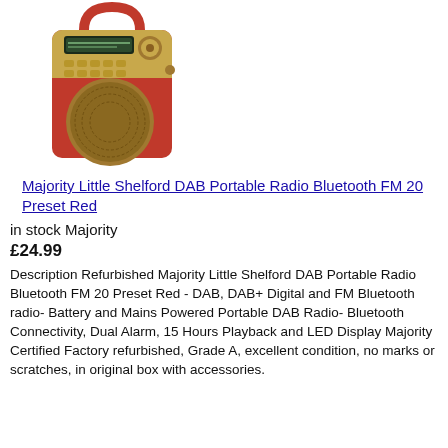[Figure (photo): A red portable DAB radio with a gold/tan speaker grille, LCD display, control buttons, and a red carry handle. The device is a Majority Little Shelford DAB Portable Radio in red color.]
Majority Little Shelford DAB Portable Radio Bluetooth FM 20 Preset Red
in stock Majority
£24.99
Description Refurbished Majority Little Shelford DAB Portable Radio Bluetooth FM 20 Preset Red - DAB, DAB+ Digital and FM Bluetooth radio- Battery and Mains Powered Portable DAB Radio- Bluetooth Connectivity, Dual Alarm, 15 Hours Playback and LED Display Majority Certified Factory refurbished, Grade A, excellent condition, no marks or scratches, in original box with accessories.